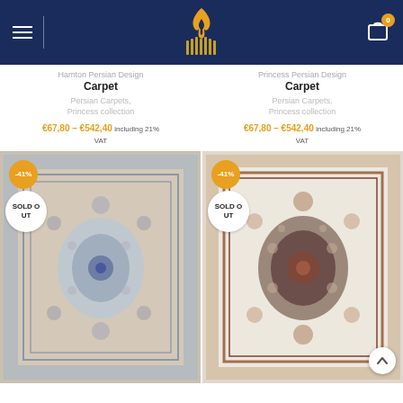Navigation bar with hamburger menu, logo, and cart icon
Hamton Persian Design Carpet
Persian Carpets, Princess collection
€67,80 – €542,40 including 21% VAT
Princess Persian Design Carpet
Persian Carpets, Princess collection
€67,80 – €542,40 including 21% VAT
[Figure (photo): Blue-toned Persian carpet with medallion design, -41% discount badge, SOLD OUT badge]
[Figure (photo): Cream/beige Persian carpet with dark medallion center, -41% discount badge, SOLD OUT badge]